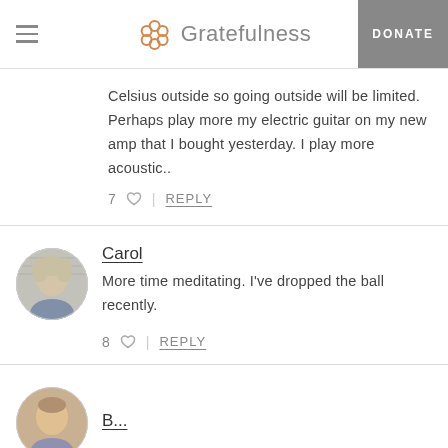Gratefulness | DONATE
Celsius outside so going outside will be limited. Perhaps play more my electric guitar on my new amp that I bought yesterday. I play more acoustic..
7 ♡ | REPLY
Carol
More time meditating. I've dropped the ball recently.
8 ♡ | REPLY